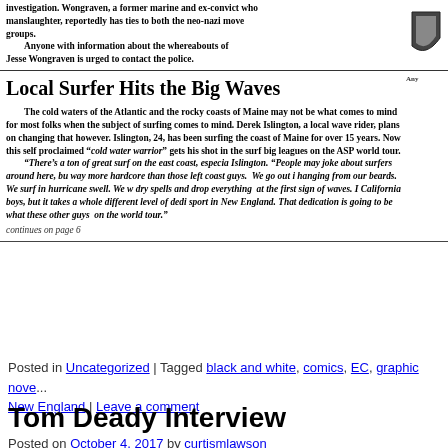investigation. Wongraven, a former marine and ex-convict whose previous charges include manslaughter, reportedly has ties to both the neo-nazi movement and other extremist groups.
        Anyone with information about the whereabouts of Jesse Wongraven is urged to contact the police.
Local Surfer Hits the Big Waves
The cold waters of the Atlantic and the rocky coasts of Maine may not be what comes to mind for most folks when the subject of surfing comes to mind. Derek Islington, a local wave rider, plans on changing that however. Islington, 24, has been surfing the coast of Maine for over 15 years. Now this self proclaimed “cold water warrior” gets his shot in the surf big leagues on the ASP world tour.
“There’s a ton of great surf on the east coast, especially” said Islington. “People may joke about surfers around here, but we’re way more hardcore than those left coast guys. We go out in the snow, with ice hanging from our beards. We surf in hurricane swell. We wait through those long dry spells and drop everything at the first sign of waves. I have nothing against California boys, but it takes a whole different level of dedication to surf this sport in New England. That dedication is going to be what sets me apart from these other guys on the world tour.”
continues on page 6
Posted in Uncategorized | Tagged black and white, comics, EC, graphic nove... New England | Leave a comment
Tom Deady Interview
Posted on October 4, 2017 by curtismlawson